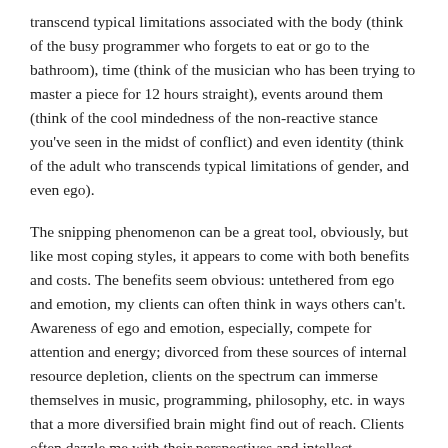transcend typical limitations associated with the body (think of the busy programmer who forgets to eat or go to the bathroom), time (think of the musician who has been trying to master a piece for 12 hours straight), events around them (think of the cool mindedness of the non-reactive stance you've seen in the midst of conflict) and even identity (think of the adult who transcends typical limitations of gender, and even ego).
The snipping phenomenon can be a great tool, obviously, but like most coping styles, it appears to come with both benefits and costs. The benefits seem obvious: untethered from ego and emotion, my clients can often think in ways others can't. Awareness of ego and emotion, especially, compete for attention and energy; divorced from these sources of internal resource depletion, clients on the spectrum can immerse themselves in music, programming, philosophy, etc. in ways that a more diversified brain might find out of reach. Clients often dazzle me with their perspectives and intellect.
The costs involved in snipping are sometimes immediate (such being unable to participate in a charged emotional situation that demands emotional engagement) and more often long-term (a life